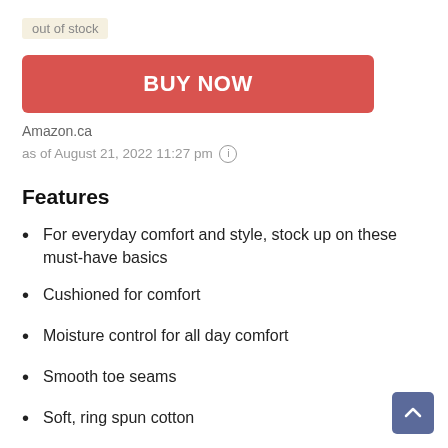out of stock
BUY NOW
Amazon.ca
as of August 21, 2022 11:27 pm ℹ
Features
For everyday comfort and style, stock up on these must-have basics
Cushioned for comfort
Moisture control for all day comfort
Smooth toe seams
Soft, ring spun cotton